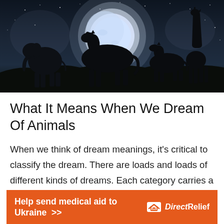[Figure (photo): Silhouettes of animals (elephant, horse, smaller horse/zebra, giraffe) against a large glowing moon in a starry night sky]
What It Means When We Dream Of Animals
When we think of dream meanings, it's critical to classify the dream. There are loads and loads of different kinds of dreams. Each category carries a different
[Figure (infographic): Orange advertisement banner: 'Help send medical aid to Ukraine >>' with Direct Relief logo on the right]